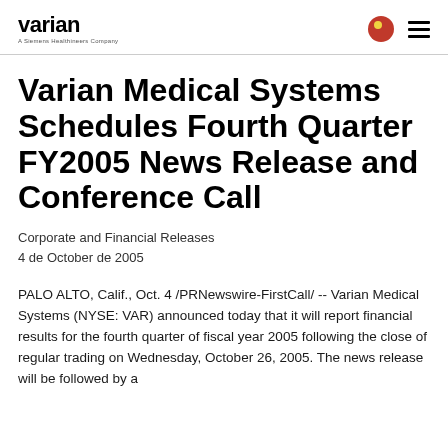varian — A Siemens Healthineers Company
Varian Medical Systems Schedules Fourth Quarter FY2005 News Release and Conference Call
Corporate and Financial Releases
4 de October de 2005
PALO ALTO, Calif., Oct. 4 /PRNewswire-FirstCall/ -- Varian Medical Systems (NYSE: VAR) announced today that it will report financial results for the fourth quarter of fiscal year 2005 following the close of regular trading on Wednesday, October 26, 2005. The news release will be followed by a